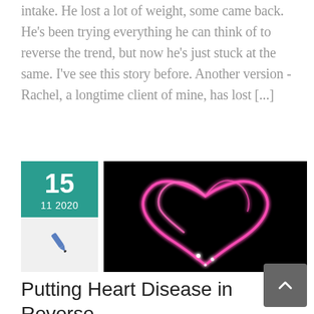intake. He lost a lot of weight, some came back. He's been trying everything he can think of to reverse the trend, but now he's just stuck at the same.  I've see this story before.  Another version - Rachel, a longtime client of mine, has lost [...]
[Figure (other): Date card showing 15 / 11 2020 with teal background and pen icon below, next to a dark image of a glowing pink neon heart shape on black background]
Putting Heart Disease in Reverse